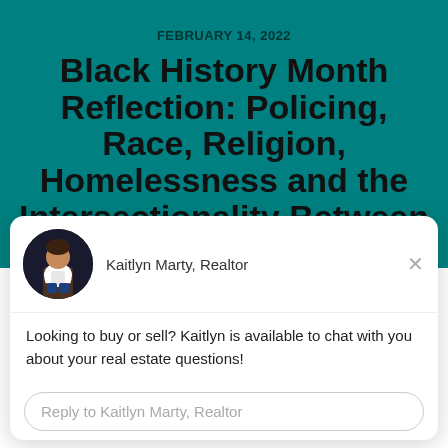FEBRUARY 14, 2022
Black History Month Reflection: Policing, Race, Religion, Homelessness and the Intersectionality Between Them | Lonnie Arnold
[Figure (screenshot): Chat widget overlay showing Kaitlyn Marty, Realtor with avatar photo, message about real estate questions, reply input box, and Drift branding]
Looking to buy or sell? Kaitlyn is available to chat with you about your real estate questions!
Reply to Kaitlyn Marty, Realtor
Chat ⚡ by Drift